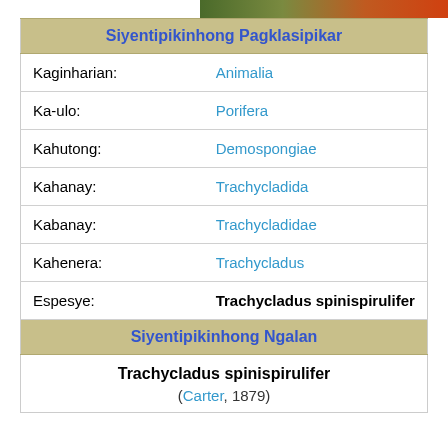[Figure (photo): Color photo strip showing orange and green organisms, likely sponges in natural habitat]
| Kaginharian: | Animalia |
| Ka-ulo: | Porifera |
| Kahutong: | Demospongiae |
| Kahanay: | Trachycladida |
| Kabanay: | Trachycladidae |
| Kahenera: | Trachycladus |
| Espesye: | Trachycladus spinispirulifer |
Siyentipikinhong Ngalan
Trachycladus spinispirulifer
(Carter, 1879)